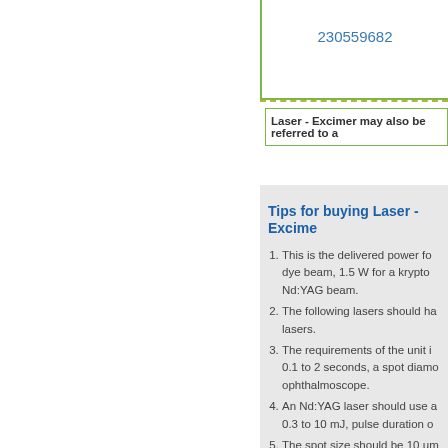230559682
Laser - Excimer may also be referred to a
Tips for buying Laser - Excime
This is the delivered power fo dye beam, 1.5 W for a krypto Nd:YAG beam.
The following lasers should ha lasers.
The requirements of the unit i 0.1 to 2 seconds, a spot diamo ophthalmoscope.
An Nd:YAG laser should use a 0.3 to 10 mJ, pulse duration o
The spot size should be 10 µm
Selected energy, shot selection
The laser should have a joysti
A compatible slit lamp should
Each unit should have an auto with 35 mm adapter, a head re
An excimer laser should ha